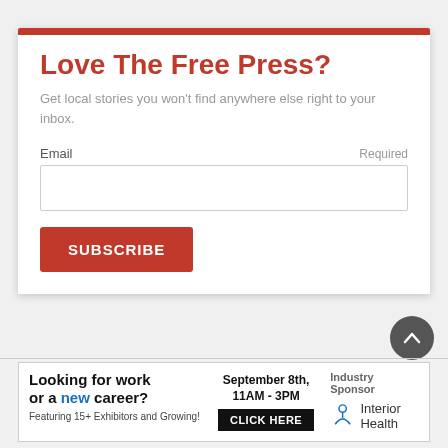Love The Free Press?
Get local stories you won't find anywhere else right to your inbox.
Email  Required
[Figure (screenshot): Email input field (empty text box)]
SUBSCRIBE
[Figure (infographic): Advertisement banner: Looking for work or a new career? Featuring 15+ Exhibitors and Growing! September 8th, 11AM - 3PM CLICK HERE. Industry Sponsor: Interior Health]